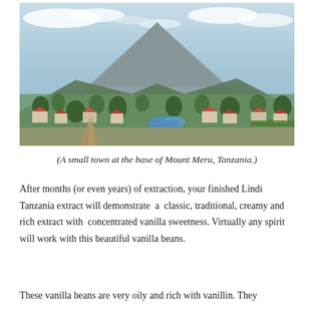[Figure (photo): Aerial view of a small town at the base of Mount Meru, Tanzania. A large mountain dominates the background under a partly cloudy sky. The foreground shows residential buildings, red-roofed houses, lush green trees, and dirt roads spread across the town.]
(A small town at the base of Mount Meru, Tanzania.)
After months (or even years) of extraction, your finished Lindi Tanzania extract will demonstrate  a  classic, traditional, creamy and rich extract with  concentrated vanilla sweetness. Virtually any spirit will work with this beautiful vanilla beans.
These vanilla beans are very oily and rich with vanillin. They